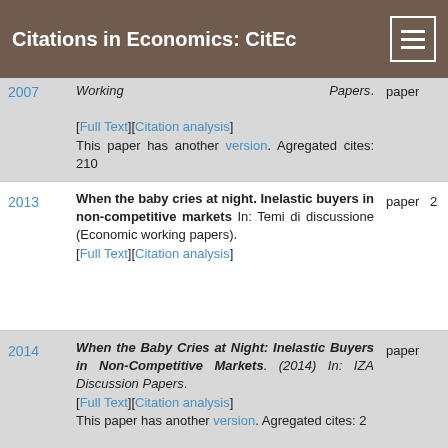Citations in Economics: CitEc
| Year | Description | Type |
| --- | --- | --- |
| 2007 | Working Papers. [Full Text][Citation analysis] This paper has another version. Agregated cites: 210 | paper |
| 2013 | When the baby cries at night. Inelastic buyers in non-competitive markets In: Temi di discussione (Economic working papers). [Full Text][Citation analysis] | paper 2 |
| 2014 | When the Baby Cries at Night: Inelastic Buyers in Non-Competitive Markets. (2014) In: IZA Discussion Papers. [Full Text][Citation analysis] This paper has another version. Agregated cites: 2 | paper |